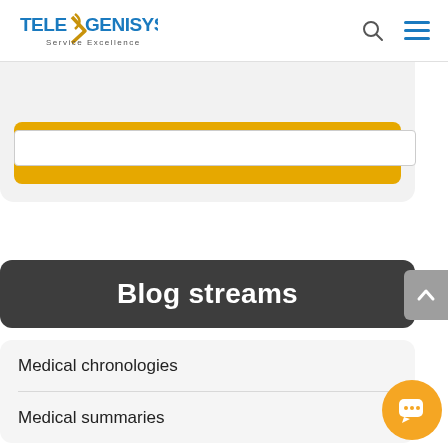TELEGENISYS Service Excellence
[Figure (screenshot): Subscribe button - golden/amber colored button with white text 'Subscribe']
Blog streams
Medical chronologies
Medical summaries